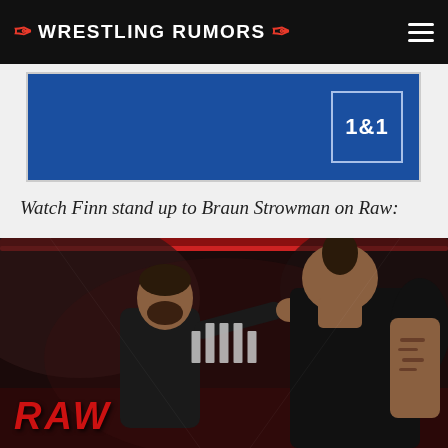⚡ WRESTLING RUMORS ⚡
[Figure (photo): 1&1 advertisement banner with blue background]
Watch Finn stand up to Braun Strowman on Raw:
[Figure (photo): WWE Raw photo showing Finn Balor standing up to Braun Strowman in the ring, with the RAW logo visible in the lower left corner. A video play button is overlaid in the center.]